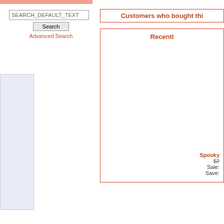[Figure (screenshot): Top image bar cropped, salmon/peach color strip]
SEARCH_DEFAULT_TEXT
Search
Advanced Search
[Figure (illustration): Light blue/lavender rectangle panel on left side]
Customers who bought thi
Recently
Spooky
$2
Sale:
Save: